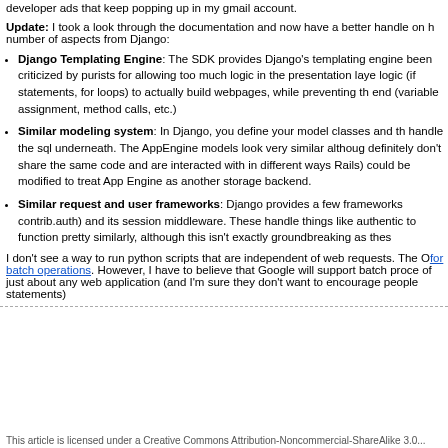developer ads that keep popping up in my gmail account.
Update: I took a look through the documentation and now have a better handle on h number of aspects from Django:
Django Templating Engine: The SDK provides Django's templating engine been criticized by purists for allowing too much logic in the presentation laye logic (if statements, for loops) to actually build webpages, while preventing th end (variable assignment, method calls, etc.)
Similar modeling system: In Django, you define your model classes and th handle the sql underneath. The AppEngine models look very similar althoug definitely don't share the same code and are interacted with in different ways Rails) could be modified to treat App Engine as another storage backend.
Similar request and user frameworks: Django provides a few frameworks contrib.auth) and its session middleware. These handle things like authentic to function pretty similarly, although this isn't exactly groundbreaking as thes
I don't see a way to run python scripts that are independent of web requests. The O for batch operations. However, I have to believe that Google will support batch proce of just about any web application (and I'm sure they don't want to encourage people statements)
This article is licensed under a Creative Commons Attribution-Noncommercial-ShareAlike 3.0...